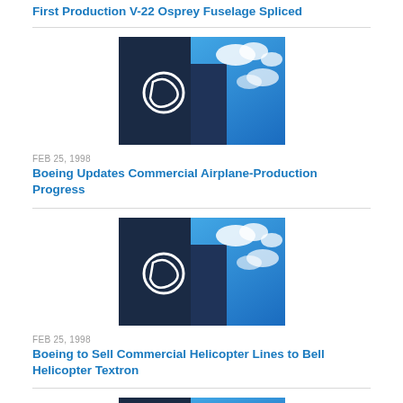First Production V-22 Osprey Fuselage Spliced
[Figure (photo): Boeing logo on building against blue sky with clouds]
FEB 25, 1998
Boeing Updates Commercial Airplane-Production Progress
[Figure (photo): Boeing logo on building against blue sky with clouds]
FEB 25, 1998
Boeing to Sell Commercial Helicopter Lines to Bell Helicopter Textron
[Figure (photo): Partial photo of Boeing-related image at bottom of page]